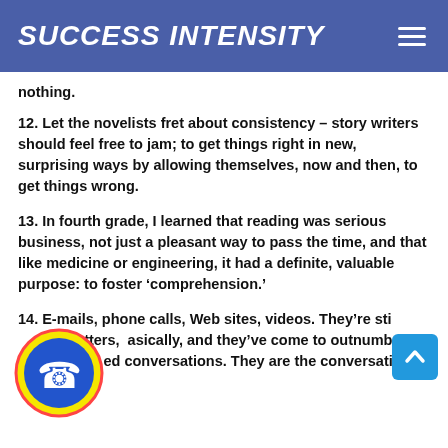SUCCESS INTENSITY
nothing.
12. Let the novelists fret about consistency – story writers should feel free to jam; to get things right in new, surprising ways by allowing themselves, now and then, to get things wrong.
13. In fourth grade, I learned that reading was serious business, not just a pleasant way to pass the time, and that like medicine or engineering, it had a definite, valuable purpose: to foster ‘comprehension.’
14. E-mails, phone calls, Web sites, videos. They’re still letters, basically, and they’ve come to outnumber old-fashioned conversations. They are the conversation now.